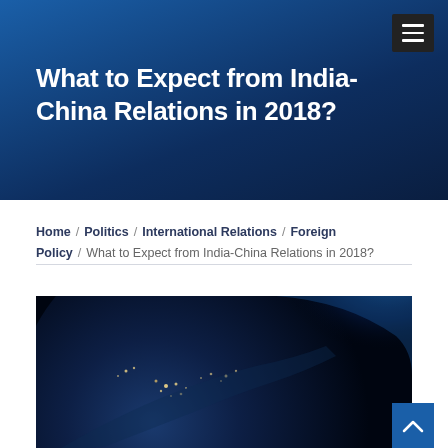≡
What to Expect from India-China Relations in 2018?
Home / Politics / International Relations / Foreign Policy / What to Expect from India-China Relations in 2018?
[Figure (photo): Satellite night-time photo of Asia/Earth from space showing city lights]